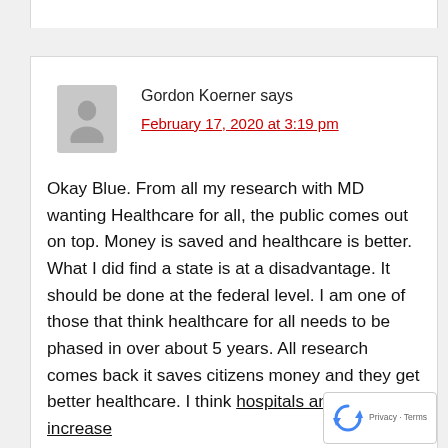Gordon Koerner says
February 17, 2020 at 3:19 pm
Okay Blue. From all my research with MD wanting Healthcare for all, the public comes out on top. Money is saved and healthcare is better. What I did find a state is at a disadvantage. It should be done at the federal level. I am one of those that think healthcare for all needs to be phased in over about 5 years. All research comes back it saves citizens money and they get better healthcare. I think hospitals and clinics will increase